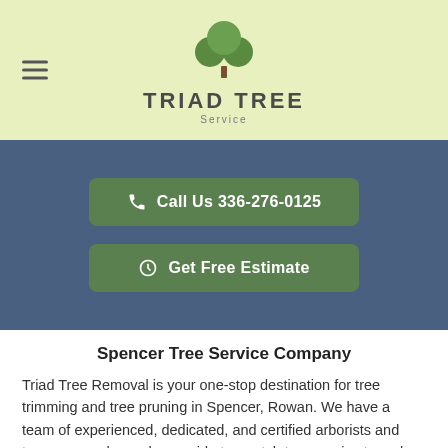[Figure (logo): Triad Tree Service logo with green tree icon, text TRIAD TREE and Service below]
[Figure (other): Call Us button with phone icon: Call Us 336-276-0125]
[Figure (other): Get Free Estimate button with clock icon]
Spencer Tree Service Company
Triad Tree Removal is your one-stop destination for tree trimming and tree pruning in Spencer, Rowan. We have a team of experienced, dedicated, and certified arborists and tree care workers who provide top-notch tree service to make the landscape of your property look beautiful. If you want us to shape your trees and take care of them, all you